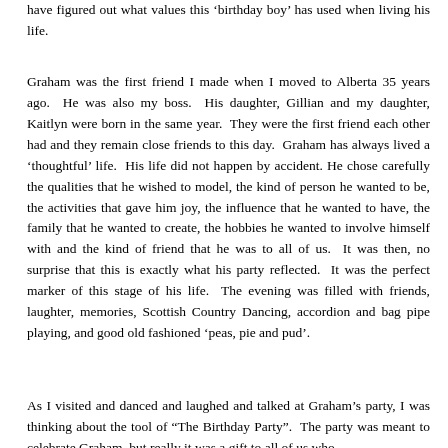have figured out what values this 'birthday boy' has used when living his life.
Graham was the first friend I made when I moved to Alberta 35 years ago. He was also my boss. His daughter, Gillian and my daughter, Kaitlyn were born in the same year. They were the first friend each other had and they remain close friends to this day. Graham has always lived a 'thoughtful' life. His life did not happen by accident. He chose carefully the qualities that he wished to model, the kind of person he wanted to be, the activities that gave him joy, the influence that he wanted to have, the family that he wanted to create, the hobbies he wanted to involve himself with and the kind of friend that he was to all of us. It was then, no surprise that this is exactly what his party reflected. It was the perfect marker of this stage of his life. The evening was filled with friends, laughter, memories, Scottish Country Dancing, accordion and bag pipe playing, and good old fashioned 'peas, pie and pud'.
As I visited and danced and laughed and talked at Graham's party, I was thinking about the tool of "The Birthday Party". The party was meant to celebrate Graham, but really it was a gift to all of us who